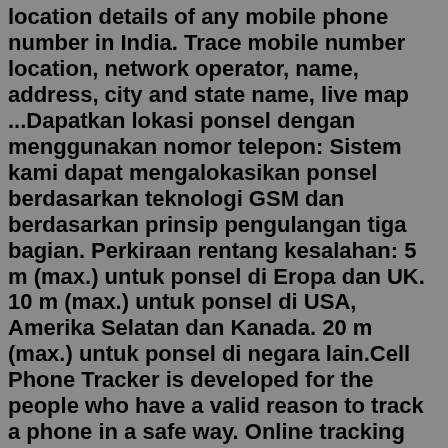location details of any mobile phone number in India. Trace mobile number location, network operator, name, address, city and state name, live map ...Dapatkan lokasi ponsel dengan menggunakan nomor telepon: Sistem kami dapat mengalokasikan ponsel berdasarkan teknologi GSM dan berdasarkan prinsip pengulangan tiga bagian. Perkiraan rentang kesalahan: 5 m (max.) untuk ponsel di Eropa dan UK. 10 m (max.) untuk ponsel di USA, Amerika Selatan dan Kanada. 20 m (max.) untuk ponsel di negara lain.Cell Phone Tracker is developed for the people who have a valid reason to track a phone in a safe way. Online tracking service allows you to track locations by using phone number. The greatest advantage is you could find mobile number current location via online map. In this way you can also track the cell phone at the same time.Area Code Locator. Got a call from an unknown number? If you know the full number, use the phone number search for even more details. If not, find the location of any area code by entering the number above. See a map of